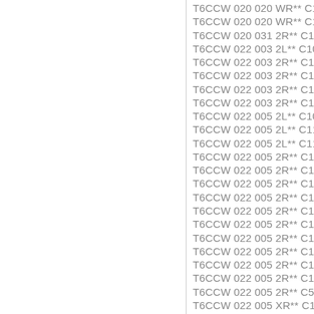T6CCW 020 020 WR** C100
T6CCW 020 020 WR** C100
T6CCW 020 031 2R** C10M
T6CCW 022 003 2L** C10M
T6CCW 022 003 2R** C100
T6CCW 022 003 2R** C10M
T6CCW 022 003 2R** C111
T6CCW 022 003 2R** C111
T6CCW 022 005 2L** C100
T6CCW 022 005 2L** C111
T6CCW 022 005 2L** C111
T6CCW 022 005 2R** C100
T6CCW 022 005 2R** C100
T6CCW 022 005 2R** C10M
T6CCW 022 005 2R** C10M
T6CCW 022 005 2R** C10W
T6CCW 022 005 2R** C111
T6CCW 022 005 2R** C111
T6CCW 022 005 2R** C111
T6CCW 022 005 2R** C111
T6CCW 022 005 2R** C111
T6CCW 022 005 2R** C500
T6CCW 022 005 XR** C111